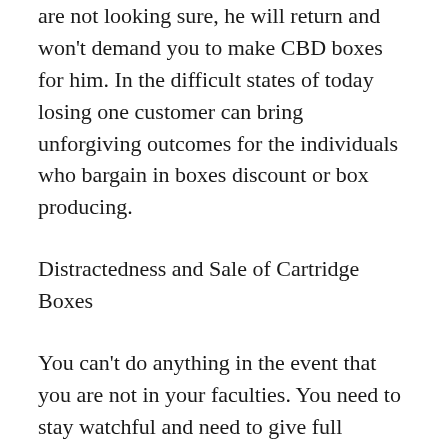are not looking sure, he will return and won't demand you to make CBD boxes for him. In the difficult states of today losing one customer can bring unforgiving outcomes for the individuals who bargain in boxes discount or box producing.
Distractedness and Sale of Cartridge Boxes
You can't do anything in the event that you are not in your faculties. You need to stay watchful and need to give full consideration to each part of your business. Assume you produce custom vape cartridge packaging, your staff educates you regarding some issue in a machine, one of your customers reveals to you that he needs to change old plan of vape boxes of his image and another customer discloses to you that he enjoys the old plan of vape boxes of his image a great deal and don't have any desire to transform it. You neglect and blend the things, teach your creator